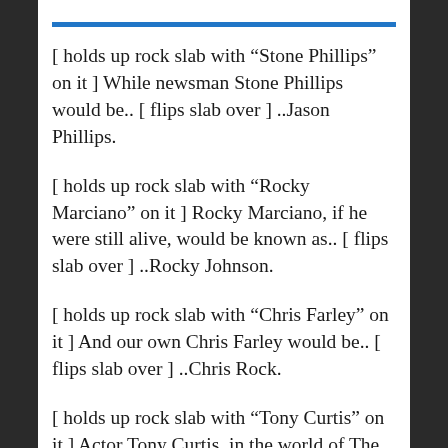[ holds up rock slab with “Stone Phillips” on it ] While newsman Stone Phillips would be.. [ flips slab over ] ..Jason Phillips.
[ holds up rock slab with “Rocky Marciano” on it ] Rocky Marciano, if he were still alive, would be known as.. [ flips slab over ] ..Rocky Johnson.
[ holds up rock slab with “Chris Farley” on it ] And our own Chris Farley would be.. [ flips slab over ] ..Chris Rock.
[ holds up rock slab with “Tony Curtis” on it ] Actor Tony Curtis, in the world of The